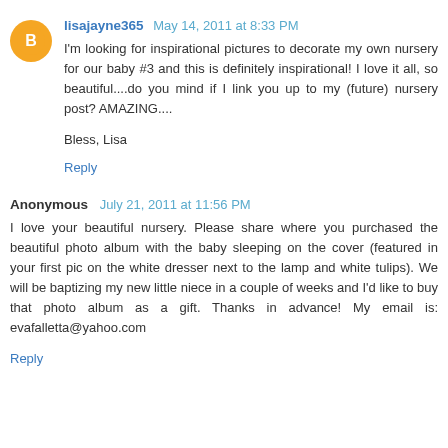lisajayne365 May 14, 2011 at 8:33 PM
I'm looking for inspirational pictures to decorate my own nursery for our baby #3 and this is definitely inspirational! I love it all, so beautiful....do you mind if I link you up to my (future) nursery post? AMAZING....
Bless, Lisa
Reply
Anonymous July 21, 2011 at 11:56 PM
I love your beautiful nursery. Please share where you purchased the beautiful photo album with the baby sleeping on the cover (featured in your first pic on the white dresser next to the lamp and white tulips). We will be baptizing my new little niece in a couple of weeks and I'd like to buy that photo album as a gift. Thanks in advance! My email is: evafalletta@yahoo.com
Reply